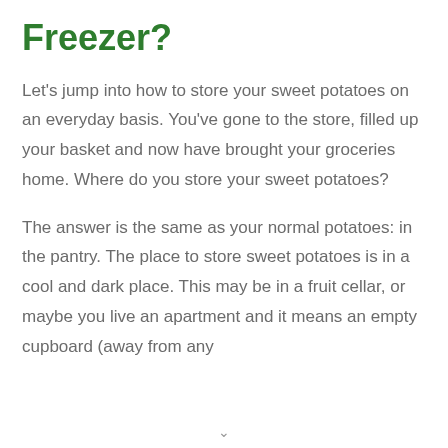Freezer?
Let's jump into how to store your sweet potatoes on an everyday basis. You've gone to the store, filled up your basket and now have brought your groceries home. Where do you store your sweet potatoes?
The answer is the same as your normal potatoes: in the pantry. The place to store sweet potatoes is in a cool and dark place. This may be in a fruit cellar, or maybe you live an apartment and it means an empty cupboard (away from any